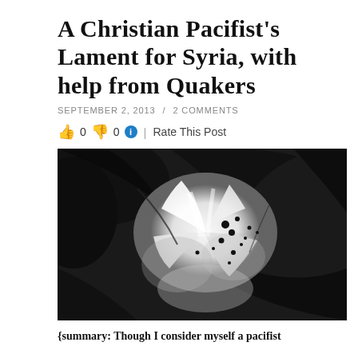A Christian Pacifist's Lament for Syria, with Help from Quakers
September 2, 2013 / 2 Comments
👍 0 👎 0 ℹ | Rate This Post
[Figure (photo): Abstract black and white painting or photograph showing swirling dark and light areas, resembling a flower or explosion shape with ink splatters]
{summary: Though I consider myself a pacifist